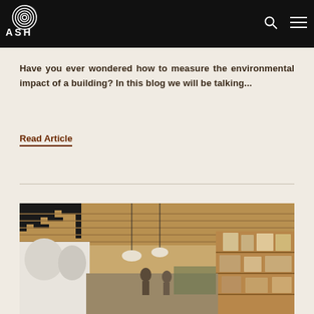ASH
Have you ever wondered how to measure the environmental impact of a building? In this blog we will be talking...
Read Article
[Figure (photo): Interior photo of a modern café or workspace with wooden ceiling details, pendant lights, and shelving with artwork]